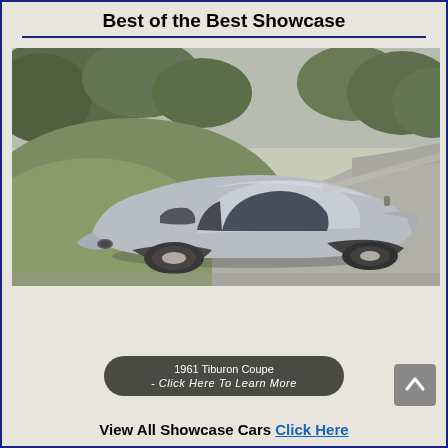Best of the Best Showcase
[Figure (photo): 1961 Tiburon Coupe concept car, silver/light blue futuristic body, photographed from rear three-quarter angle on a driveway with green lawn and trees in background]
1961 Tiburon Coupe - Click Here To Learn More
View All Showcase Cars Click Here